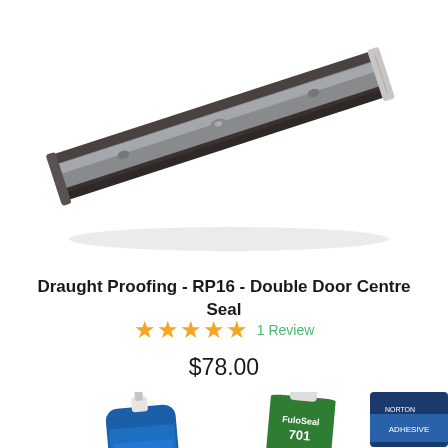[Figure (photo): A dark bronze/charcoal extruded aluminium double door centre draught seal strip (RP16), shown at an angle on a white background. The profile shows a T-shaped or channel section with a grey rubber/silicone insert.]
Draught Proofing - RP16 - Double Door Centre Seal
★★★★★ 1 Review
$78.00
[Figure (photo): Bottom portion of page showing two adhesive/caulk tubes: a blue H.B. Fuller tube on the left and a FuloSeal 701 green tube on the right, both partially visible, with a blue 'Chat with us' button overlaid in the lower right corner.]